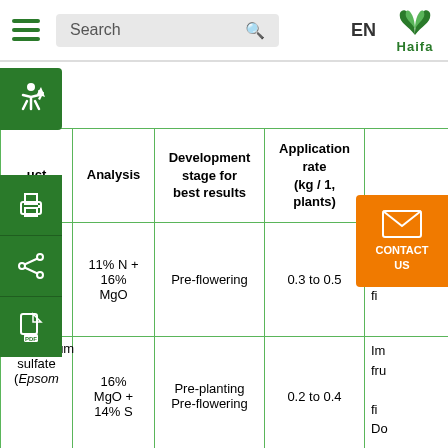Haifa website header with hamburger menu, search box, EN language selector, and Haifa logo
| Product | Analysis | Development stage for best results | Application rate (kg / 1,... plants) |  |
| --- | --- | --- | --- | --- |
| [esium / Magnesium...] | 11% N + 16% MgO | Pre-flowering | 0.3 to 0.5 | Im... fru... fi... |
| Magnesium sulfate (Epsom | 16% MgO + 14% S | Pre-planting Pre-flowering | 0.2 to 0.4 | Im... fru... fi... Do... |